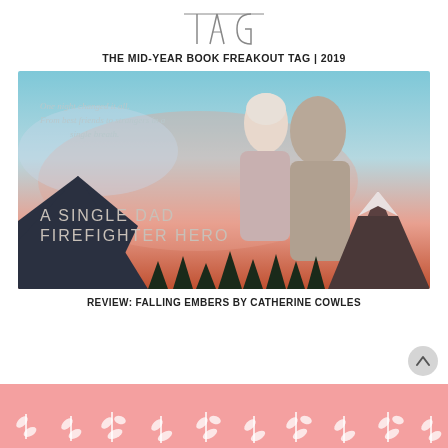[Figure (logo): TAG logo in thin serif/minimalist font — T A G with a horizontal bar across the top]
THE MID-YEAR BOOK FREAKOUT TAG | 2019
[Figure (photo): Book cover for 'A Single Dad Firefighter Hero' — couple embracing against a mountain/forest twilight backdrop with text: 'One night changed it all. From best friends to strangers in a single breath.']
REVIEW: FALLING EMBERS BY CATHERINE COWLES
[Figure (illustration): Pink banner with white leaf/branch decorative pattern at bottom of page]